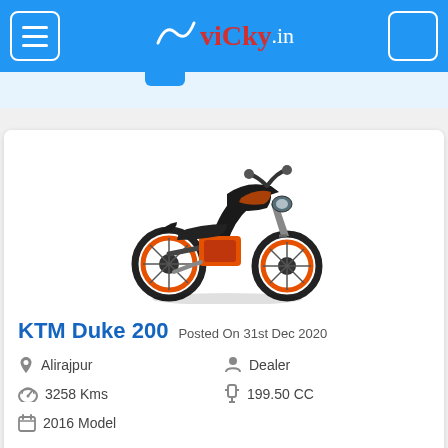vicky.in
[Figure (photo): KTM Duke 200 motorcycle in black and orange color, front-side view]
KTM Duke 200 Posted On 31st Dec 2020
Alirajpur
Dealer
3258 Kms
199.50 CC
2016 Model
₹ 25,000